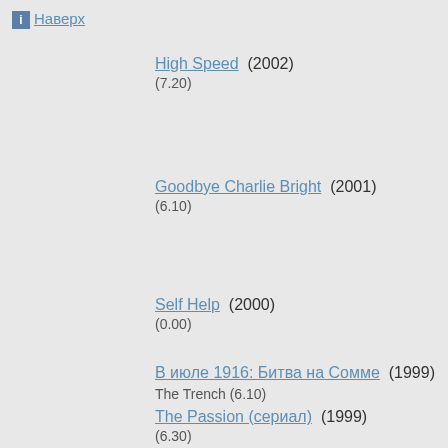Наверх
High Speed (2002) (7.20)
Goodbye Charlie Bright (2001) (6.10)
Self Help (2000) (0.00)
В июле 1916: Битва на Сомме (1999) The Trench (6.10)
The Passion (сериал) (1999) (6.30)